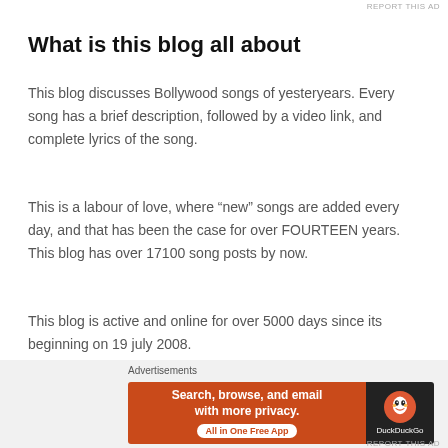REPORT THIS AD
What is this blog all about
This blog discusses Bollywood songs of yesteryears. Every song has a brief description, followed by a video link, and complete lyrics of the song.
This is a labour of love, where “new” songs are added every day, and that has been the case for over FOURTEEN years. This blog has over 17100 song posts by now.
This blog is active and online for over 5000 days since its beginning on 19 july 2008.
Important Announcement
[Figure (other): DuckDuckGo advertisement banner: 'Search, browse, and email with more privacy. All in One Free App' with DuckDuckGo logo on dark background]
REPORT THIS AD